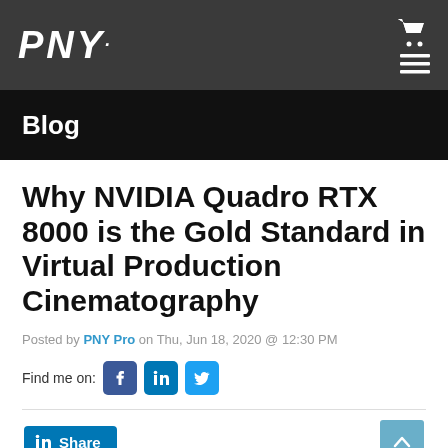PNY
Blog
Why NVIDIA Quadro RTX 8000 is the Gold Standard in Virtual Production Cinematography
Posted by PNY Pro on Thu, Jun 18, 2020 @ 12:30 PM
Find me on: [Facebook] [LinkedIn] [Twitter]
[LinkedIn Share button] [Back to top]